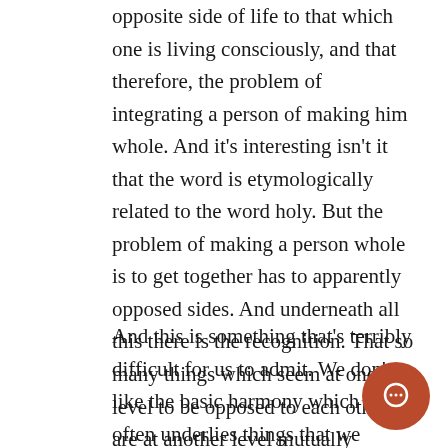opposite side of life to that which one is living consciously, and that therefore, the problem of integrating a person of making him whole. And it's interesting isn't it that the word is etymologically related to the word holy. But the problem of making a person whole is to get together has to apparently opposed sides. And underneath all this there is the recognition. That so many things which seem at one level to be opposed to each other are at another level mutually necessary.
And this is something that's terribly difficult for us to admit. We don't like the basic harmony which very often underlies things that we would rather prefer to see in opposition to each other. Take for example,